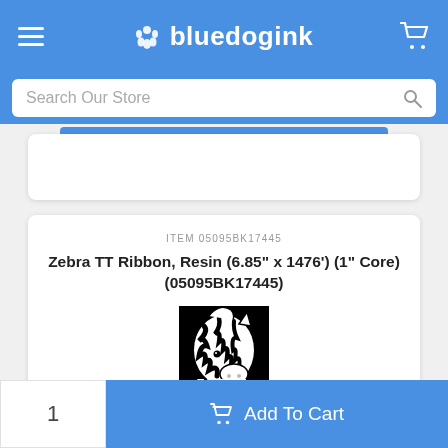bluedogink
Search Our Store
ITEM 05095BK17445
Zebra TT Ribbon, Resin (6.85" x 1476') (1" Core) (05095BK17445)
[Figure (logo): Zebra Technologies logo — black and white zebra head with 'ZEBRA TECHNOLOGIES' text below]
1
Add To Cart